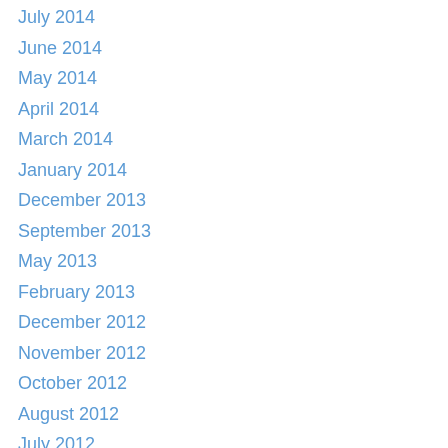July 2014
June 2014
May 2014
April 2014
March 2014
January 2014
December 2013
September 2013
May 2013
February 2013
December 2012
November 2012
October 2012
August 2012
July 2012
June 2012
May 2012
March 2012
February 2012
January 2012